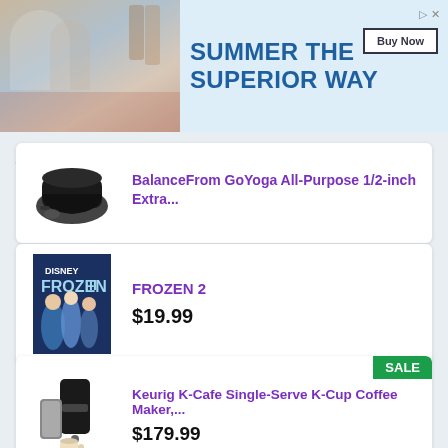[Figure (screenshot): Advertisement banner: Summer themed ad with 'SUMMER THE SUPERIOR WAY' text and Buy Now button]
BalanceFrom GoYoga All-Purpose 1/2-inch Extra...
FROZEN 2 — $19.99
Keurig K-Cafe Single-Serve K-Cup Coffee Maker,... — $179.99 SALE
Mueller French Press Double Insulated 304... — $29.97 SALE